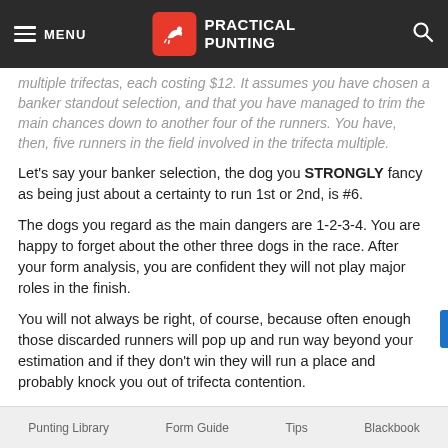MENU | PRACTICAL PUNTING
multiple trifectas, each costing $12. It assumes you have chosen a banker standout selection, and that you have managed to trim the main chances down to another four of the runners. You have, then, five runners in the field involved in the trifecta multiple.
Let’s say your banker selection, the dog you STRONGLY fancy as being just about a certainty to run 1st or 2nd, is #6.
The dogs you regard as the main dangers are 1-2-3-4. You are happy to forget about the other three dogs in the race. After your form analysis, you are confident they will not play major roles in the finish.
You will not always be right, of course, because often enough those discarded runners will pop up and run way beyond your estimation and if they don’t win they will run a place and probably knock you out of trifecta contention.
Your task is to make sure this doesn’t happen often enough
Punting Library   Form Guide   Tips   Blackbook